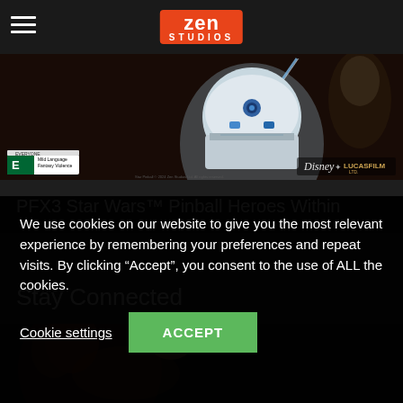Zen Studios
[Figure (screenshot): Star Wars Pinball Heroes Within banner image showing R2-D2, a lightsaber, characters, Disney and Lucasfilm logos, and an ESRB E rating badge]
PFX3 Star Wars™ Pinball Heroes Within
Stay Connected
[Figure (screenshot): Character artwork showing a female character reaching out and an orange armored villain character]
We use cookies on our website to give you the most relevant experience by remembering your preferences and repeat visits. By clicking “Accept”, you consent to the use of ALL the cookies.
Cookie settings
ACCEPT